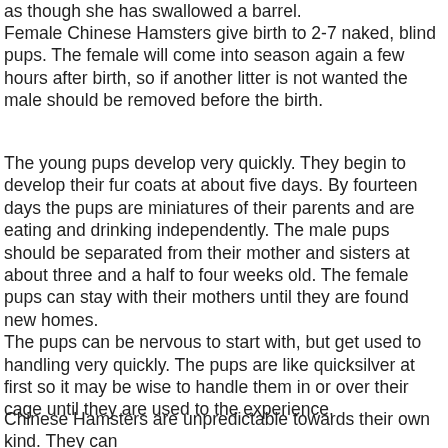as though she has swallowed a barrel.
Female Chinese Hamsters give birth to 2-7 naked, blind pups. The female will come into season again a few hours after birth, so if another litter is not wanted the male should be removed before the birth.
The young pups develop very quickly. They begin to develop their fur coats at about five days. By fourteen days the pups are miniatures of their parents and are eating and drinking independently. The male pups should be separated from their mother and sisters at about three and a half to four weeks old. The female pups can stay with their mothers until they are found new homes.
The pups can be nervous to start with, but get used to handling very quickly. The pups are like quicksilver at first so it may be wise to handle them in or over their cage until they are used to the experience.
Chinese Hamsters are unpredictable towards their own kind. They can